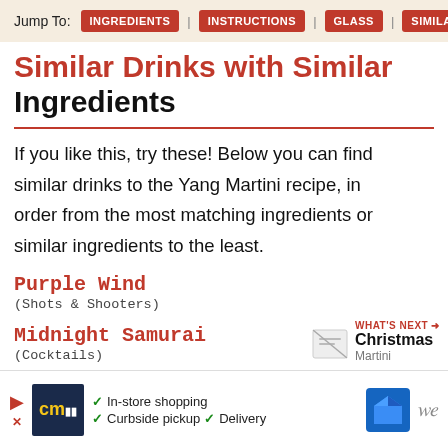Jump To: INGREDIENTS | INSTRUCTIONS | GLASS | SIMILAR
Similar Drinks with Similar Ingredients
If you like this, try these! Below you can find similar drinks to the Yang Martini recipe, in order from the most matching ingredients or similar ingredients to the least.
Purple Wind (Shots & Shooters)
Midnight Samurai (Cocktails)
Mount Fuji #2 (Cocktails)